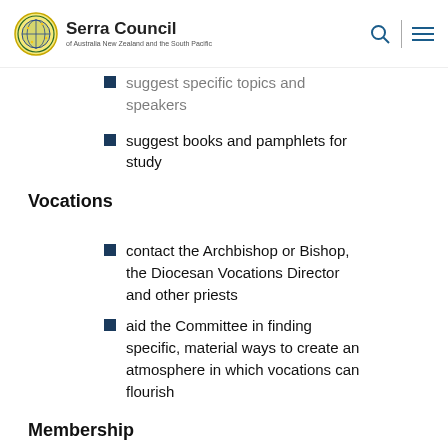Serra Council of Australia New Zealand and the South Pacific
suggest specific topics and speakers
suggest books and pamphlets for study
Vocations
contact the Archbishop or Bishop, the Diocesan Vocations Director and other priests
aid the Committee in finding specific, material ways to create an atmosphere in which vocations can flourish
Membership
share his knowledge of the Parish and Diocesan structures